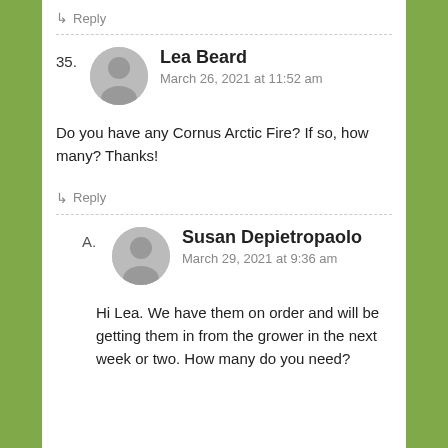↳ Reply
35. Lea Beard
March 26, 2021 at 11:52 am
Do you have any Cornus Arctic Fire? If so, how many? Thanks!
↳ Reply
A. Susan Depietropaolo
March 29, 2021 at 9:36 am
Hi Lea. We have them on order and will be getting them in from the grower in the next week or two. How many do you need?